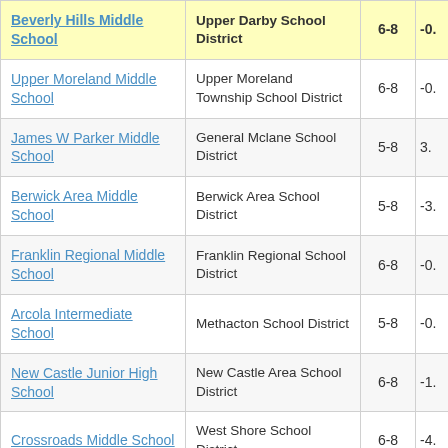| School | District | Grades | Score |
| --- | --- | --- | --- |
| Beverly Hills Middle School | Upper Darby School District | 6-8 | -0. |
| Upper Moreland Middle School | Upper Moreland Township School District | 6-8 | -0. |
| James W Parker Middle School | General Mclane School District | 5-8 | 3. |
| Berwick Area Middle School | Berwick Area School District | 5-8 | -3. |
| Franklin Regional Middle School | Franklin Regional School District | 6-8 | -0. |
| Arcola Intermediate School | Methacton School District | 5-8 | -0. |
| New Castle Junior High School | New Castle Area School District | 6-8 | -1. |
| Crossroads Middle School | West Shore School District | 6-8 | -4. |